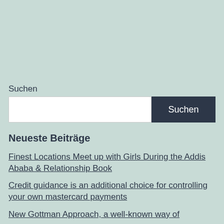Suchen
Suchen
Neueste Beiträge
Finest Locations Meet up with Girls During the Addis Ababa & Relationship Book
Credit guidance is an additional choice for controlling your own mastercard payments
New Gottman Approach, a well-known way of